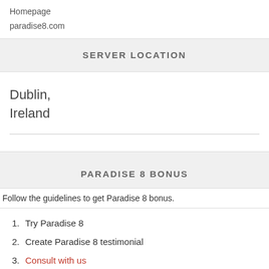Homepage
paradise8.com
SERVER LOCATION
Dublin,
Ireland
PARADISE 8 BONUS
Follow the guidelines to get Paradise 8 bonus.
1. Try Paradise 8
2. Create Paradise 8 testimonial
3. Consult with us